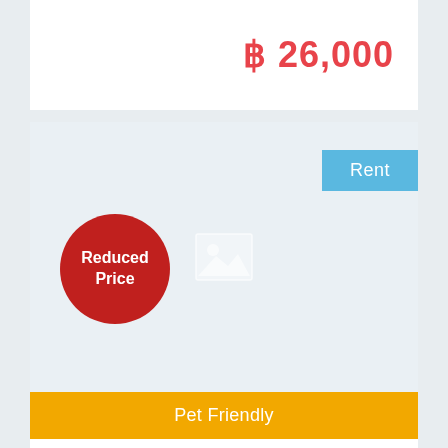฿ 26,000
Rent
[Figure (photo): Placeholder image area for property listing photo]
Reduced Price
Pet Friendly
Single House For Rent Close to BTS NANA Station Suitable For...
Nana